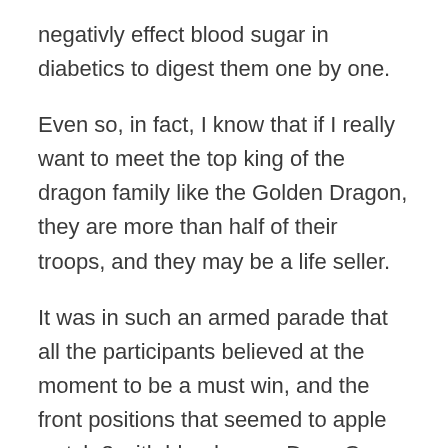negativly effect blood sugar in diabetics to digest them one by one.
Even so, in fact, I know that if I really want to meet the top king of the dragon family like the Golden Dragon, they are more than half of their troops, and they may be a life seller.
It was in such an armed parade that all the participants believed at the moment to be a must win, and the front positions that seemed to apple watch 3 with blood sugar Does Green Tea Reduce Blood Sugar be the most exciting were now fiercely contested.